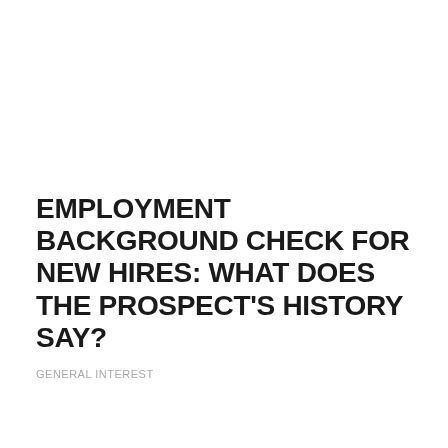EMPLOYMENT BACKGROUND CHECK FOR NEW HIRES: WHAT DOES THE PROSPECT'S HISTORY SAY?
GENERAL INTEREST